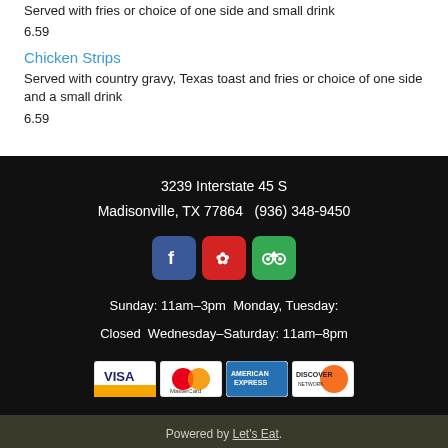Served with fries or choice of one side and small drink
6.59
Chicken Strips
Served with country gravy, Texas toast and fries or choice of one side and a small drink
6.59
3239 Interstate 45 S
Madisonville, TX 77864   (936) 348-9450
[Figure (logo): Social media icons: Facebook, Yelp, TripAdvisor]
Sunday: 11am–3pm  Monday, Tuesday: Closed  Wednesday–Saturday: 11am–8pm
[Figure (logo): Payment method logos: VISA, MasterCard, American Express, Discover]
Powered by Let's Eat.